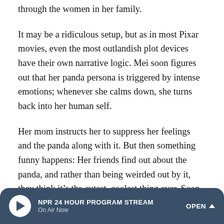through the women in her family.
It may be a ridiculous setup, but as in most Pixar movies, even the most outlandish plot devices have their own narrative logic. Mei soon figures out that her panda persona is triggered by intense emotions; whenever she calms down, she turns back into her human self.
Her mom instructs her to suppress her feelings and the panda along with it. But then something funny happens: Her friends find out about the panda, and rather than being weirded out by it, they think it’s the cutest, coolest thing ever. Soon, Mei is newly popular and having the time of her life, and she starts to wonder: What if the panda, far from being some shameful aberration, is actually the truest expression of her
NPR 24 HOUR PROGRAM STREAM
On Air Now
OPEN